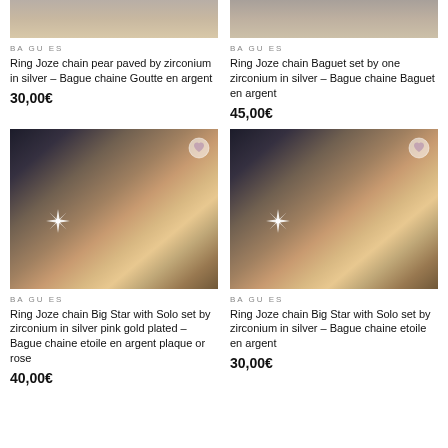[Figure (photo): Cropped top portion of ring photo - left product, silver ring on hand]
BAGUES
Ring Joze chain pear paved by zirconium in silver – Bague chaine Goutte en argent
30,00€
[Figure (photo): Cropped top portion of ring photo - right product, silver ring on hand]
BAGUES
Ring Joze chain Baguet set by one zirconium in silver – Bague chaine Baguet en argent
45,00€
[Figure (photo): Chain ring with big star charm in silver pink gold plated, shown on hand with heart wishlist button]
BAGUES
Ring Joze chain Big Star with Solo set by zirconium in silver pink gold plated – Bague chaine etoile en argent plaque or rose
40,00€
[Figure (photo): Chain ring with big star charm in silver, shown on hand with heart wishlist button]
BAGUES
Ring Joze chain Big Star with Solo set by zirconium in silver – Bague chaine etoile en argent
30,00€